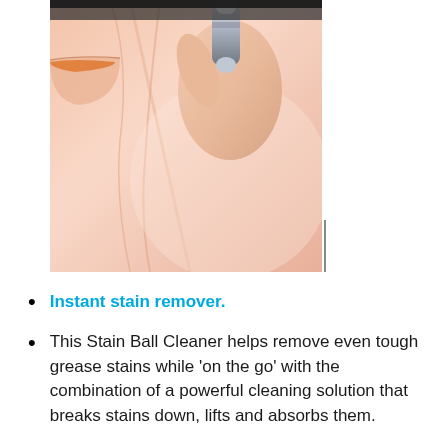[Figure (photo): A hand holding a stain remover ball/pen device pressed against peach-colored fabric clothing, demonstrating stain removal.]
Instant stain remover.
This Stain Ball Cleaner helps remove even tough grease stains while 'on the go' with the combination of a powerful cleaning solution that breaks stains down, lifts and absorbs them.